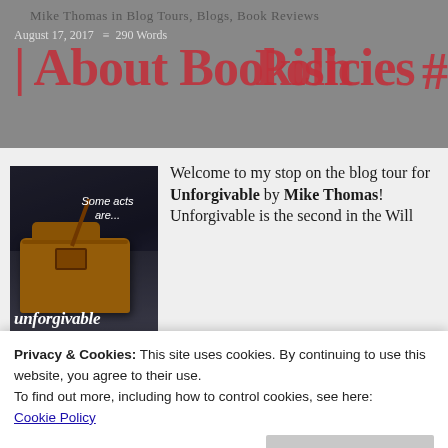Mike Thomas in Blog Tours, Blogs, Book Reviews | About Bookish | Policies | August 17, 2017 | 290 Words | #
[Figure (photo): Book cover of 'Unforgivable' showing a yellow/orange leather satchel bag on a dark background with text 'Some acts are...' and 'unforgivable']
Welcome to my stop on the blog tour for Unforgivable by Mike Thomas! Unforgivable is the second in the Will
Privacy & Cookies: This site uses cookies. By continuing to use this website, you agree to their use.
To find out more, including how to control cookies, see here:
Cookie Policy
Close and accept
writing commandments and don't forget to